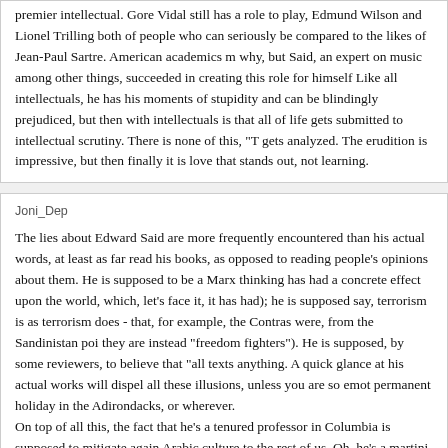premier intellectual. Gore Vidal still has a role to play, Edmund Wilson and Lionel Trilling both of people who can seriously be compared to the likes of Jean-Paul Sartre. American academics m why, but Said, an expert on music among other things, succeeded in creating this role for himself Like all intellectuals, he has his moments of stupidity and can be blindingly prejudiced, but then with intellectuals is that all of life gets submitted to intellectual scrutiny. There is none of this, "T gets analyzed. The erudition is impressive, but then finally it is love that stands out, not learning.
Joni_Dep
The lies about Edward Said are more frequently encountered than his actual words, at least as far read his books, as opposed to reading people's opinions about them. He is supposed to be a Marx thinking has had a concrete effect upon the world, which, let's face it, it has had); he is supposed say, terrorism is as terrorism does - that, for example, the Contras were, from the Sandinistan poi they are instead "freedom fighters"). He is supposed, by some reviewers, to believe that "all texts anything. A quick glance at his actual works will dispel all these illusions, unless you are so emot permanent holiday in the Adirondacks, or wherever.
On top of all this, the fact that he's a tenured professor in Columbia is supposed to mitigate again Arabic culture to the rest of us. Oh, he's a martini-sipping Bach-lover, what does he know about c tenured professor, should detract from Bloom's qualities as an expert on European and American His most famous work has probably been his meticulous unpicking of the attitudes of European a within inverted commas after reading his brilliant "Orientalism". But this collection, representing Said's interests. There are meticulous and beautifully forensic essays on TE Lawrence and Samue cited in the aftermath of September 11th, and Said shows us just how partisan and polemical Hum Johnny Weissmuller's portrayal of "Tarzan", and a spirited eulogy to a celebrated belly-dancer, as the best Melville criticism I've ever seen.